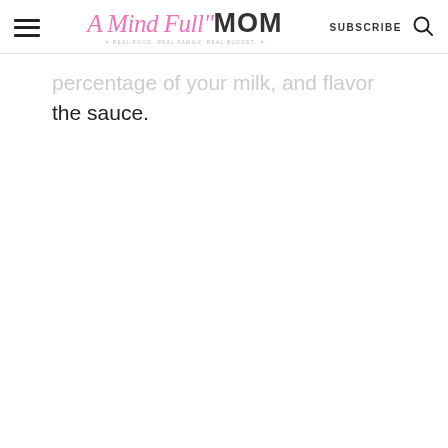A Mind Full Mom — REAL FOOD. REAL FAMILY. REAL BUDGET. | SUBSCRIBE
percentage of your milk, and flavor the sauce.